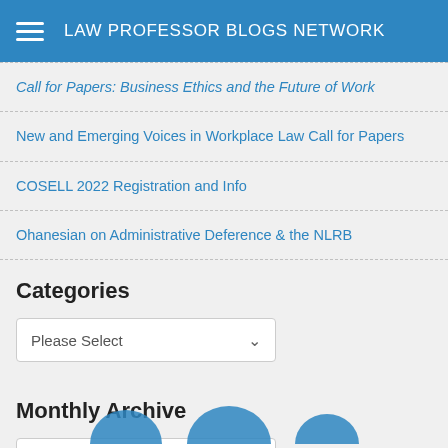LAW PROFESSOR BLOGS NETWORK
Call for Papers: Business Ethics and the Future of Work
New and Emerging Voices in Workplace Law Call for Papers
COSELL 2022 Registration and Info
Ohanesian on Administrative Deference & the NLRB
Categories
Please Select
Monthly Archive
Please Select